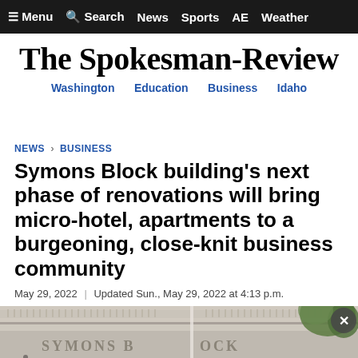≡ Menu   🔍 Search   News   Sports   AE   Weather
The Spokesman-Review
Washington   Education   Business   Idaho
NEWS > BUSINESS
Symons Block building's next phase of renovations will bring micro-hotel, apartments to a burgeoning, close-knit business community
May 29, 2022  |  Updated Sun., May 29, 2022 at 4:13 p.m.
[Figure (photo): Exterior facade of the Symons Block building showing stone cornice with 'SYMONS BLOCK' lettering and decorative architectural details]